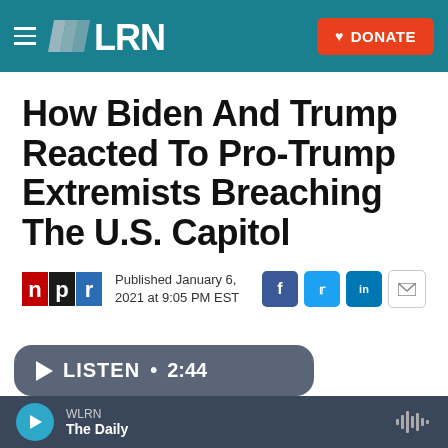[Figure (logo): WLRN public radio website header with teal background, hamburger menu, WLRN logo, and orange Donate button]
How Biden And Trump Reacted To Pro-Trump Extremists Breaching The U.S. Capitol
Published January 6, 2021 at 9:05 PM EST
[Figure (screenshot): Audio player bar showing LISTEN • 2:44 with play button, WLRN station label and The Daily show title]